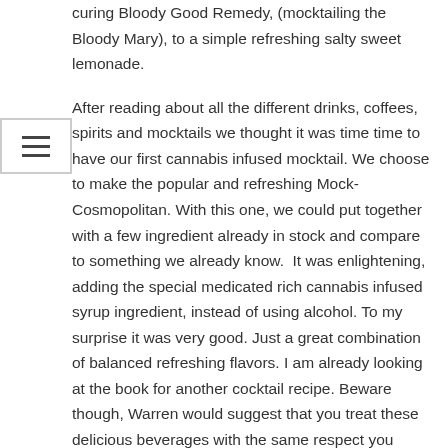curing Bloody Good Remedy, (mocktailing the Bloody Mary), to a simple refreshing salty sweet lemonade.
After reading about all the different drinks, coffees, spirits and mocktails we thought it was time time to have our first cannabis infused mocktail. We choose to make the popular and refreshing Mock-Cosmopolitan. With this one, we could put together with a few ingredient already in stock and compare to something we already know.  It was enlightening, adding the special medicated rich cannabis infused syrup ingredient, instead of using alcohol. To my surprise it was very good. Just a great combination of balanced refreshing flavors. I am already looking at the book for another cocktail recipe. Beware though, Warren would suggest that you treat these delicious beverages with the same respect you would give any other alcoholic drink. They are very good and just as potent!